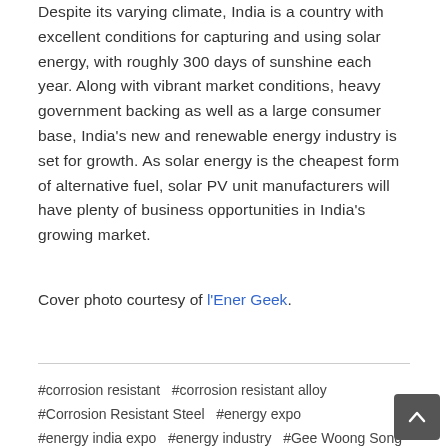Despite its varying climate, India is a country with excellent conditions for capturing and using solar energy, with roughly 300 days of sunshine each year. Along with vibrant market conditions, heavy government backing as well as a large consumer base, India's new and renewable energy industry is set for growth. As solar energy is the cheapest form of alternative fuel, solar PV unit manufacturers will have plenty of business opportunities in India's growing market.
Cover photo courtesy of l'Ener Geek.
#corrosion resistant  #corrosion resistant alloy  #Corrosion Resistant Steel  #energy expo  #energy india expo  #energy industry  #Gee Woong Song  #global renewable energy  #growth  #high corrosion resistant alloy plated steel sheet  #india consumer electricity  #india electricity  #india energy